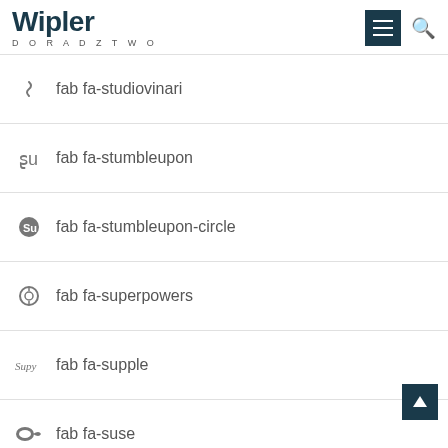Wipler DORADZTWO
fab fa-studiovinari
fab fa-stumbleupon
fab fa-stumbleupon-circle
fab fa-superpowers
fab fa-supple
fab fa-suse
fab fa-swift
fab fa-symfony